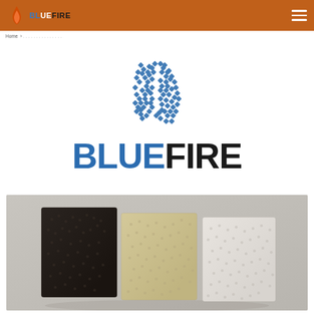BLUEFIRE (logo header bar with hamburger menu)
[Figure (logo): BlueFire company logo: blue dotted flame icon above the word BLUEFIRE in two-tone text (BLUE in steel blue, FIRE in dark/black), centered on white background]
[Figure (photo): Product photograph showing three ceramic/foam filter material samples side by side: dark charcoal-colored on the left, beige/cream in the center, and white on the right, on a light gray background]